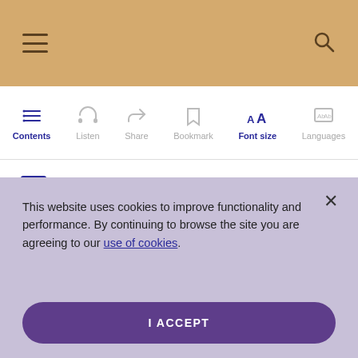[Figure (screenshot): Mobile app top navigation bar with golden/tan background, hamburger menu icon on left and search icon on right]
[Figure (screenshot): Toolbar row with Contents, Listen, Share, Bookmark, Font size (active/bold), and Languages icons]
Send a comment to the editors
This website uses cookies to improve functionality and performance. By continuing to browse the site you are agreeing to our use of cookies.
I ACCEPT